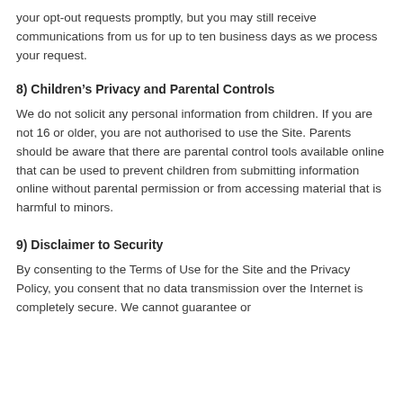your opt-out requests promptly, but you may still receive communications from us for up to ten business days as we process your request.
8) Children’s Privacy and Parental Controls
We do not solicit any personal information from children. If you are not 16 or older, you are not authorised to use the Site. Parents should be aware that there are parental control tools available online that can be used to prevent children from submitting information online without parental permission or from accessing material that is harmful to minors.
9) Disclaimer to Security
By consenting to the Terms of Use for the Site and the Privacy Policy, you consent that no data transmission over the Internet is completely secure. We cannot guarantee or